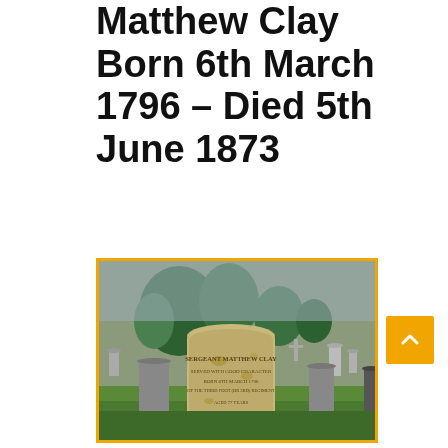Matthew Clay Born 6th March 1796 – Died 5th June 1873
[Figure (photo): Photograph of a gravestone in a cemetery reading 'Sergeant Matthew Clay' with trees and other gravestones in the background. The photo has an orange/gold border.]